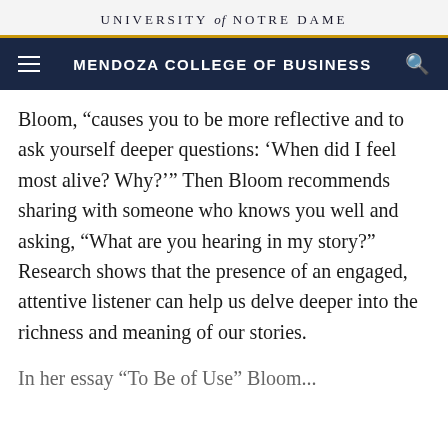UNIVERSITY of NOTRE DAME
MENDOZA COLLEGE OF BUSINESS
Bloom, “causes you to be more reflective and to ask yourself deeper questions: ‘When did I feel most alive? Why?’” Then Bloom recommends sharing with someone who knows you well and asking, “What are you hearing in my story?” Research shows that the presence of an engaged, attentive listener can help us delve deeper into the richness and meaning of our stories.
In her essay “To Be of Use” Bloom...